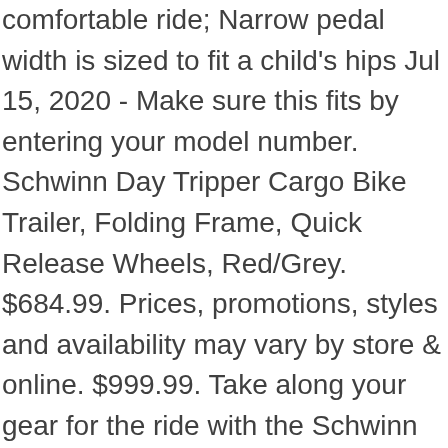comfortable ride; Narrow pedal width is sized to fit a child's hips Jul 15, 2020 - Make sure this fits by entering your model number. Schwinn Day Tripper Cargo Bike Trailer, Folding Frame, Quick Release Wheels, Red/Grey. $684.99. Prices, promotions, styles and availability may vary by store & online. $999.99. Take along your gear for the ride with the Schwinn Day Tripper Cargo Trailer. Minimum interest charge: 50¢. Schwinn. See how a store is chosen for you. Since 1898 we've created the very best in bicycles and continue this legacy today. Find many great new & used options and get the best deals for Schwinn Day Tripper Cargo Trailer - 13-sc313az at the best online prices at eBay! No sabemos si este producto volverá a estar disponible, ni cuándo. Take along your gear for the ride with the Schwinn Day Tripper Cargo Trailer. Simply